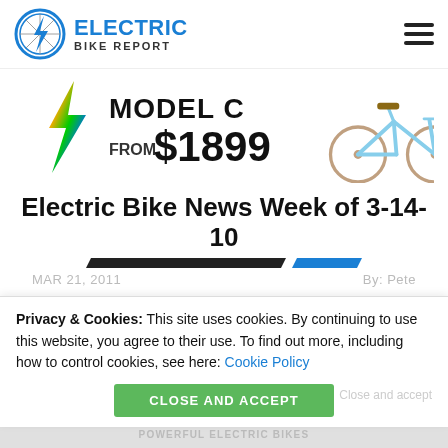ELECTRIC BIKE REPORT
[Figure (illustration): Electric Bike Report logo with lightning bolt through bicycle wheel]
[Figure (illustration): Advertisement banner: Model C FROM $1899 with image of a light blue city e-bike]
Electric Bike News Week of 3-14-10
MAR 21, 2011
By: Pete
Privacy & Cookies: This site uses cookies. By continuing to use this website, you agree to their use. To find out more, including how to control cookies, see here: Cookie Policy
CLOSE AND ACCEPT